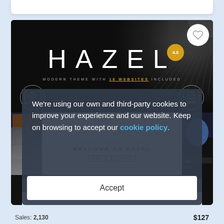[Figure (screenshot): Screenshot of the HAZEL 4.0 WordPress theme product page showing the dark banner with the HAZEL logo, subtitle 'MODERN THEME WITH 18 WEBSITES INCLUDED', #1 Seller badge, Elite award 2022 badge, a browser mockup showing 'WELCOME TO HAZEL', and a heart/wishlist icon button.]
We're using our own and third-party cookies to improve your experience and our website. Keep on browsing to accept our cookie policy.
Accept
Sales: 2,130
$127